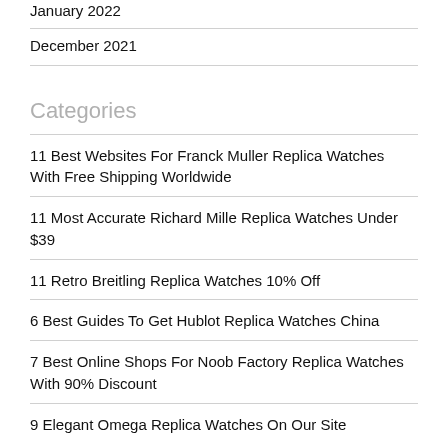January 2022
December 2021
Categories
11 Best Websites For Franck Muller Replica Watches With Free Shipping Worldwide
11 Most Accurate Richard Mille Replica Watches Under $39
11 Retro Breitling Replica Watches 10% Off
6 Best Guides To Get Hublot Replica Watches China
7 Best Online Shops For Noob Factory Replica Watches With 90% Discount
9 Elegant Omega Replica Watches On Our Site